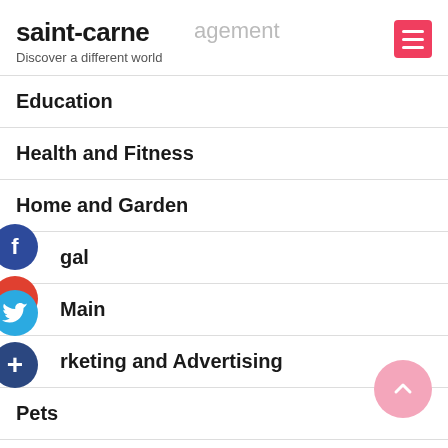saint-carne – Discover a different world
Education
Health and Fitness
Home and Garden
Legal
Main
Marketing and Advertising
Pets